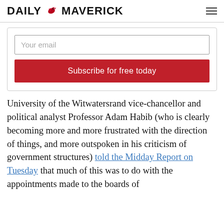DAILY MAVERICK
Your email
Subscribe for free today
University of the Witwatersrand vice-chancellor and political analyst Professor Adam Habib (who is clearly becoming more and more frustrated with the direction of things, and more outspoken in his criticism of government structures) told the Midday Report on Tuesday that much of this was to do with the appointments made to the boards of